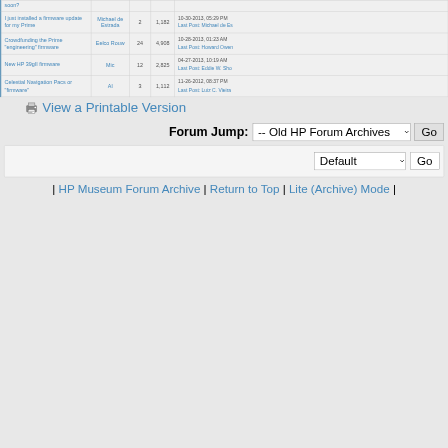| Thread | Author | Replies | Views | Last Post |
| --- | --- | --- | --- | --- |
| I just installed a firmware update for my Prime | Michael de Estrada | 2 | 1,182 | 10-30-2013, 05:29 PM
Last Post: Michael de Es... |
| Crowdfunding the Prime "engineering" firmware | Eelco Rouw | 24 | 4,908 | 10-28-2013, 01:23 AM
Last Post: Howard Owen... |
| New HP 39gII firmware | Mic | 12 | 2,825 | 04-27-2013, 10:19 AM
Last Post: Eddie W. Sho... |
| Celestial Navigation Pacs or "firmware" | Al | 3 | 1,112 | 11-26-2012, 08:37 PM
Last Post: Luiz C. Vieira |
View a Printable Version
Forum Jump: -- Old HP Forum Archives
Default | Go
| HP Museum Forum Archive | Return to Top | Lite (Archive) Mode |